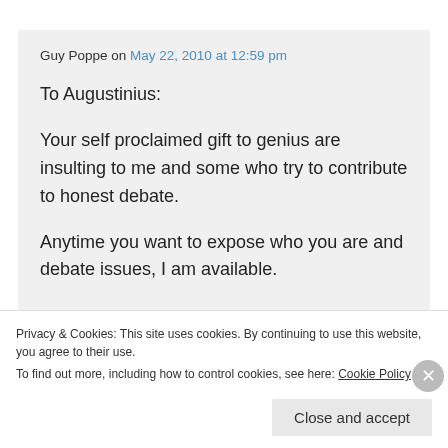Guy Poppe on May 22, 2010 at 12:59 pm
To Augustinius:

Your self proclaimed gift to genius are insulting to me and some who try to contribute to honest debate.

Anytime you want to expose who you are and debate issues, I am available.
Privacy & Cookies: This site uses cookies. By continuing to use this website, you agree to their use.
To find out more, including how to control cookies, see here: Cookie Policy